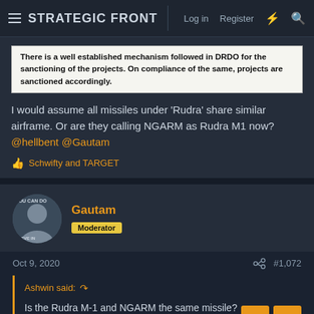STRATEGIC FRONT — Log in  Register
There is a well established mechanism followed in DRDO for the sanctioning of the projects. On compliance of the same, projects are sanctioned accordingly.
I would assume all missiles under 'Rudra' share similar airframe. Or are they calling NGARM as Rudra M1 now? @hellbent @Gautam
👍 Schwifty and TARGET
Gautam
Moderator
Oct 9, 2020   #1,072
Ashwin said:
Is the Rudra M-1 and NGARM the same missile?
View attachment 18194